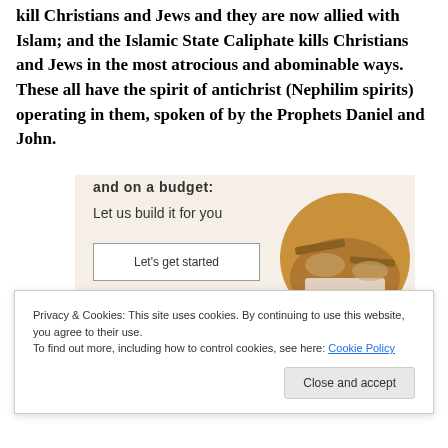kill Christians and Jews and they are now allied with Islam; and the Islamic State Caliphate kills Christians and Jews in the most atrocious and abominable ways. These all have the spirit of antichrist (Nephilim spirits) operating in them, spoken of by the Prophets Daniel and John.
[Figure (screenshot): Advertisement banner with beige background showing partial text 'and on a budget:', 'Let us build it for you', a 'Let's get started' button, and a circular photo of hands on a laptop keyboard]
Privacy & Cookies: This site uses cookies. By continuing to use this website, you agree to their use.
To find out more, including how to control cookies, see here: Cookie Policy
Close and accept